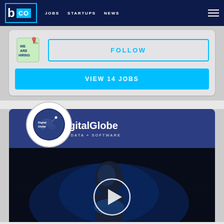b CO | JOBS | STARTUPS | NEWS
[Figure (screenshot): We Are Hiring icon/logo — a light green sticky note with 'WE ARE HIRING' text]
FOLLOW
VIEW 14 JOBS
DigitalGlobe
BIG DATA + SOFTWARE
[Figure (photo): Dark video thumbnail showing a person illuminated by blue light, with a circular play button overlay at the bottom center]